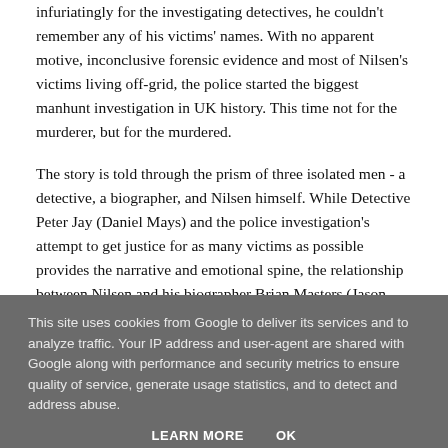infuriatingly for the investigating detectives, he couldn't remember any of his victims' names. With no apparent motive, inconclusive forensic evidence and most of Nilsen's victims living off-grid, the police started the biggest manhunt investigation in UK history. This time not for the murderer, but for the murdered.
The story is told through the prism of three isolated men - a detective, a biographer, and Nilsen himself. While Detective Peter Jay (Daniel Mays) and the police investigation's attempt to get justice for as many victims as possible provides the narrative and emotional spine, the relationship between Nilsen and his biographer Brian Masters (Jason Watkins) allows us to delve into the mind of
This site uses cookies from Google to deliver its services and to analyze traffic. Your IP address and user-agent are shared with Google along with performance and security metrics to ensure quality of service, generate usage statistics, and to detect and address abuse.
LEARN MORE    OK